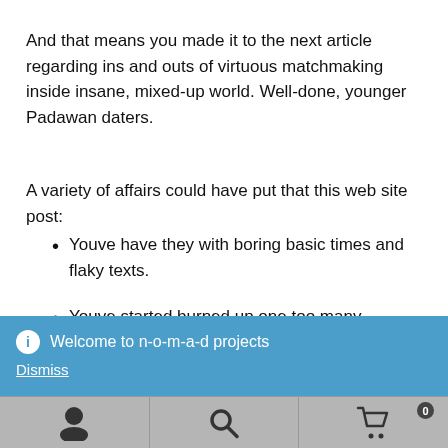And that means you made it to the next article regarding ins and outs of virtuous matchmaking inside insane, mixed-up world. Well-done, younger Padawan daters.
A variety of affairs could have put that this web site post:
Youve have they with boring basic times and flaky texts.
Youve started burned up one too many instances of the fling-focused hookup traditions.
Youre tired of serial dating – one after another. After
Welcome to n-o-m-a-d projects
Dismiss